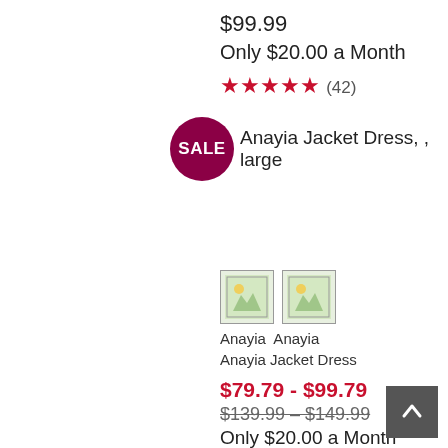$99.99
Only $20.00 a Month
★★★★★ (42)
SALE   Anayia Jacket Dress, , large
[Figure (photo): Two small thumbnail images of the Anayia Jacket Dress product]
Anayia  Anayia
Anayia Jacket Dress
$79.79 - $99.79
$139.99 – $149.99
Only $20.00 a Month
★★★★★ (38)